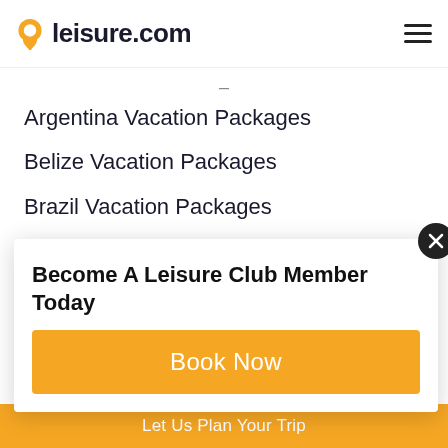leisure.com
Argentina Vacation Packages
Belize Vacation Packages
Brazil Vacation Packages
Chile Vacation Packages
Hawaii Vacation Packages
Los Cabos Vacation Packages
Punta Cana Vacation Packages
Peru Vacation Packages
Become A Leisure Club Member Today
Book Now
Let Us Plan Your Trip